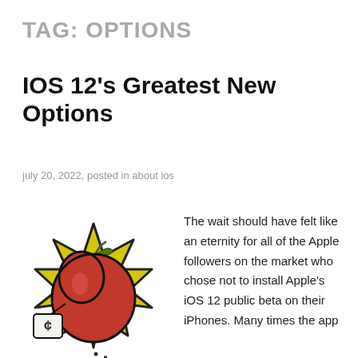TAG: OPTIONS
IOS 12's Greatest New Options
july 20, 2022, posted in about ios
[Figure (illustration): Cartoon illustration of a red apple with a yellow starburst/explosion behind it and a small money bag tag attached]
The wait should have felt like an eternity for all of the Apple followers on the market who chose not to install Apple's iOS 12 public beta on their iPhones. Many times the app